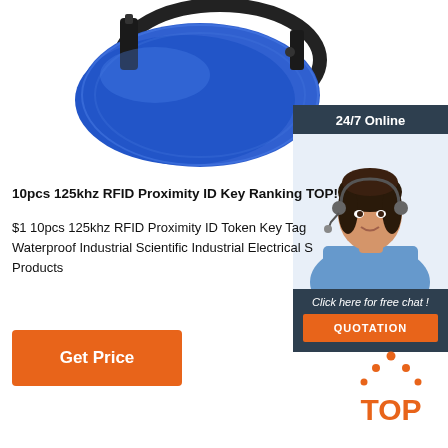[Figure (photo): Blue furry RFID key fob/tag with black frame partially visible at top of page]
[Figure (infographic): Sidebar with '24/7 Online' header, photo of woman with headset, 'Click here for free chat!' text, and orange QUOTATION button]
10pcs 125khz RFID Proximity ID Key Ranking TOP!
$1 10pcs 125khz RFID Proximity ID Token Key Tag Waterproof Industrial Scientific Industrial Electrical S Products
[Figure (logo): Orange TOP logo with dots forming triangle above the letters TOP]
Get Price